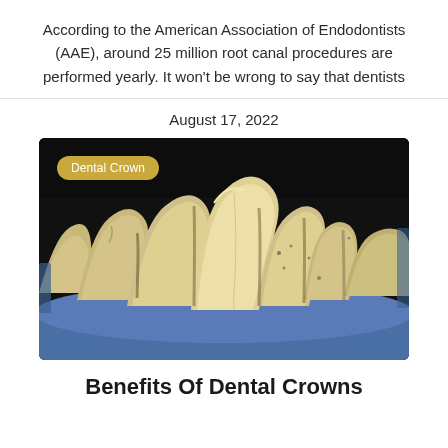According to the American Association of Endodontists (AAE), around 25 million root canal procedures are performed yearly. It won’t be wrong to say that dentists
August 17, 2022
[Figure (photo): Close-up photograph of dental crown mold showing multiple teeth on a blue background, with a 'Dental Crown' tag overlay in the top-left corner.]
Benefits Of Dental Crowns